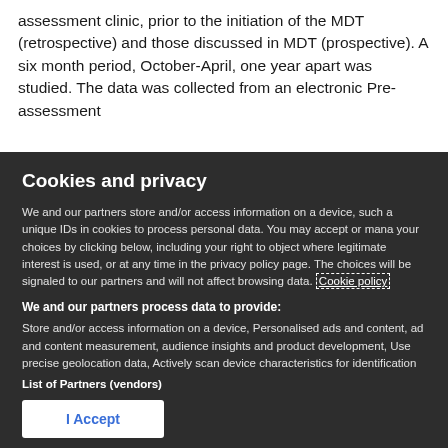assessment clinic, prior to the initiation of the MDT (retrospective) and those discussed in MDT (prospective). A six month period, October-April, one year apart was studied. The data was collected from an electronic Pre-assessment
Cookies and privacy
We and our partners store and/or access information on a device, such as unique IDs in cookies to process personal data. You may accept or manage your choices by clicking below, including your right to object where legitimate interest is used, or at any time in the privacy policy page. These choices will be signaled to our partners and will not affect browsing data. Cookie policy
We and our partners process data to provide:
Store and/or access information on a device, Personalised ads and content, ad and content measurement, audience insights and product development, Use precise geolocation data, Actively scan device characteristics for identification
List of Partners (vendors)